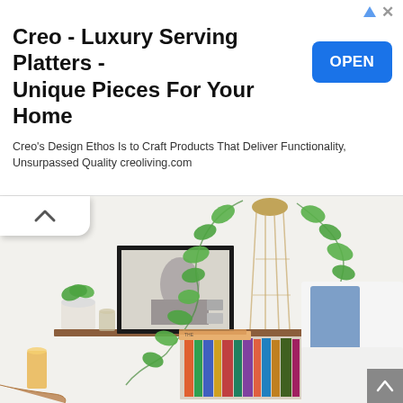Creo - Luxury Serving Platters - Unique Pieces For Your Home
Creo's Design Ethos Is to Craft Products That Deliver Functionality, Unsurpassed Quality creoliving.com
[Figure (photo): Bedroom scene with hanging pothos plant, framed black-and-white photo art, wooden floating shelf, small potted plants, glass of beer, stack of books, and white bedding with blue pillow]